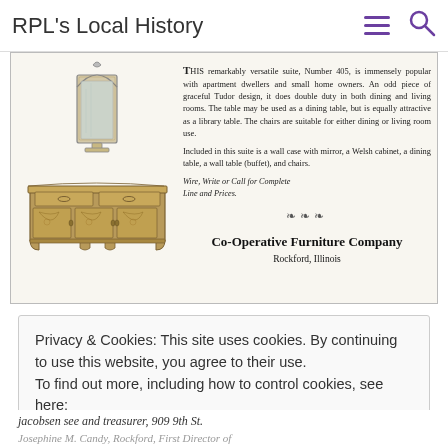RPL's Local History
[Figure (illustration): Vintage advertisement for Co-Operative Furniture Company showing a mirror, a decorative sideboard/buffet, and advertising text describing Suite Number 405, a Tudor design suite versatile for dining and living rooms. Includes ornamental divider and company name.]
Privacy & Cookies: This site uses cookies. By continuing to use this website, you agree to their use.
To find out more, including how to control cookies, see here:
Cookie Policy
jacobsen see and treasurer, 909 9th St.